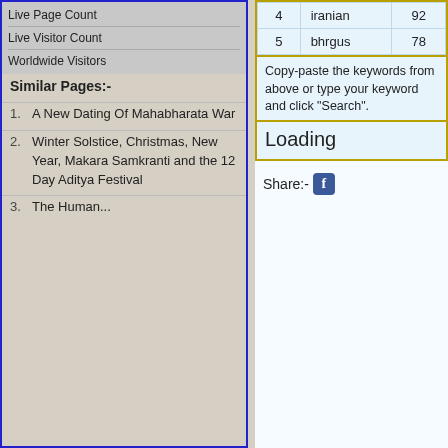Live Page Count
Live Visitor Count
Worldwide Visitors
Similar Pages:-
| 4 | iranian | 92 |
| 5 | bhrgus | 78 |
Copy-paste the keywords from above or type your keyword and click "Search".
Loading
Share:- f
A New Dating Of Mahabharata War
Winter Solstice, Christmas, New Year, Makara Samkranti and the 12 Day Aditya Festival
The Human...